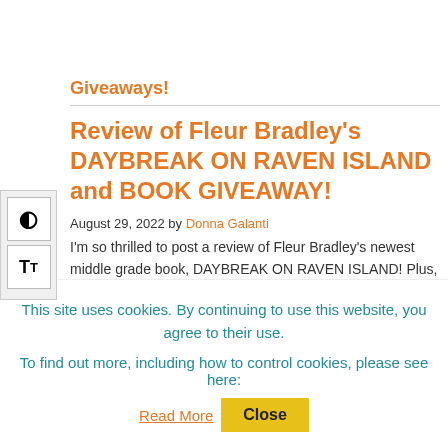Giveaways!
Review of Fleur Bradley's DAYBREAK ON RAVEN ISLAND and BOOK GIVEAWAY!
August 29, 2022 by Donna Galanti
I'm so thrilled to post a review of Fleur Bradley's newest middle grade book, DAYBREAK ON RAVEN ISLAND! Plus, you could win a hardcover copy of this spooky,
This site uses cookies. By continuing to use this website, you agree to their use. To find out more, including how to control cookies, please see here: Read More
Close